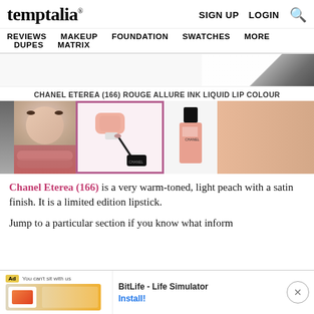temptalia® — SIGN UP  LOGIN  🔍 | REVIEWS  MAKEUP  FOUNDATION  SWATCHES  MORE  DUPES  MATRIX
[Figure (screenshot): Partial product image at top of page, dark item partially visible on white background]
CHANEL ETEREA (166) ROUGE ALLURE INK LIQUID LIP COLOUR
[Figure (photo): Row of product swatches: model wearing lipstick (top) and lip close-up (bottom), highlighted center product tube image of Chanel Eterea 166 Rouge Allure Ink lip colour with pink border, Chanel bottle on right, skin swatch on far right]
Chanel Eterea (166) is a very warm-toned, light peach with a satin finish. It is a limited edition lipstick.
Jump to a particular section if you know what inform
[Figure (screenshot): Advertisement banner: 'You can't sit with us' app ad for BitLife - Life Simulator with Install button and close X button]